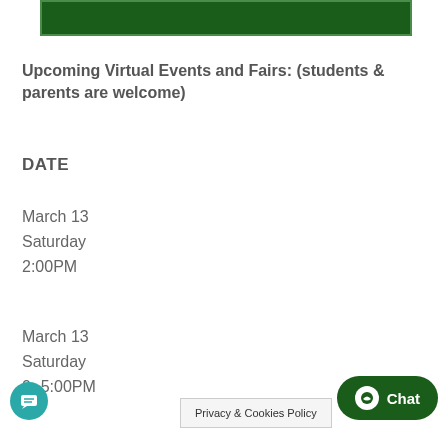[Figure (other): Green banner/header bar at the top of the page]
Upcoming Virtual Events and Fairs: (students & parents are welcome)
DATE
March 13
Saturday
2:00PM
March 13
Saturday
0- 5:00PM